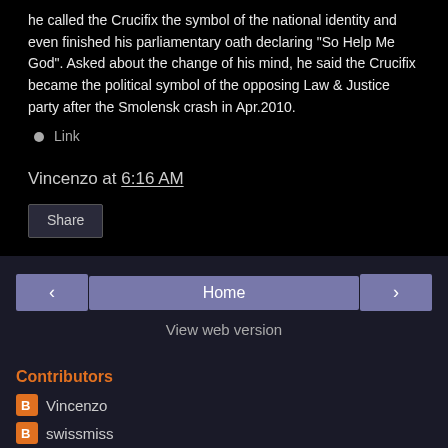he called the Crucifix the symbol of the national identity and even finished his parliamentary oath declaring "So Help Me God".  Asked about the change of his mind, he said the Crucifix became the political symbol of the opposing Law & Justice party after the Smolensk crash in Apr.2010.
Link
Vincenzo at 6:16 AM
Share
< Home >
View web version
Contributors
Vincenzo
swissmiss
Powered by Blogger.